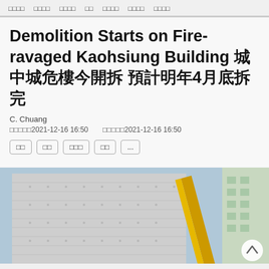□□□□ □□□□ □□□□ □□ □□□□ □□□□ □□□□
Demolition Starts on Fire-ravaged Kaohsiung Building 城中城危樓今開拆 預計明年4月底拆完
C. Chuang
□□□□□2021-12-16 16:50   □□□□□2021-12-16 16:50
□□ □□ □□□ □□ ...
[Figure (photo): Photo of a fire-ravaged building under demolition, wrapped in white netting/sheeting, with a yellow crane/excavator arm visible on the right side, against a blue sky. Other buildings visible in background.]